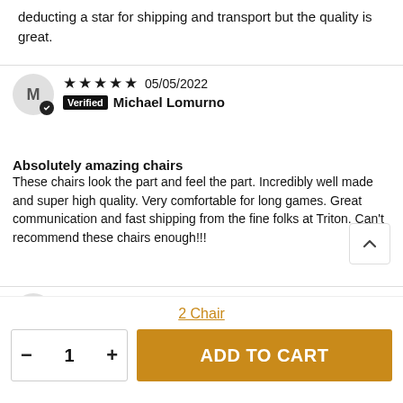deducting a star for shipping and transport but the quality is great.
★★★★★ 05/05/2022 Verified Michael Lomurno
Absolutely amazing chairs
These chairs look the part and feel the part. Incredibly well made and super high quality. Very comfortable for long games. Great communication and fast shipping from the fine folks at Triton. Can't recommend these chairs enough!!!
★★★★★ 04/29/2022 Verified Seth Platts
2 Chair
1
ADD TO CART